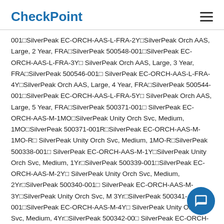CheckPoint
001☐SilverPeak EC-ORCH-AAS-L-FRA-2Y☐SilverPeak Orch AAS, Large, 2 Year, FRA☐SilverPeak 500548-001☐SilverPeak EC-ORCH-AAS-L-FRA-3Y☐SilverPeak Orch AAS, Large, 3 Year, FRA☐SilverPeak 500546-001☐SilverPeak EC-ORCH-AAS-L-FRA-4Y☐SilverPeak Orch AAS, Large, 4 Year, FRA☐SilverPeak 500544-001☐SilverPeak EC-ORCH-AAS-L-FRA-5Y☐SilverPeak Orch AAS, Large, 5 Year, FRA☐SilverPeak 500371-001☐SilverPeak EC-ORCH-AAS-M-1MO☐SilverPeak Unity Orch Svc, Medium, 1MO☐SilverPeak 500371-001R☐SilverPeak EC-ORCH-AAS-M-1MO-R☐SilverPeak Unity Orch Svc, Medium, 1MO-R☐SilverPeak 500338-001☐SilverPeak EC-ORCH-AAS-M-1Y☐SilverPeak Unity Orch Svc, Medium, 1Yr☐SilverPeak 500339-001☐SilverPeak EC-ORCH-AAS-M-2Y☐SilverPeak Unity Orch Svc, Medium, 2Yr☐SilverPeak 500340-001☐SilverPeak EC-ORCH-AAS-M-3Y☐SilverPeak Unity Orch Svc, Medium, 3Yr☐SilverPeak 500341-001☐SilverPeak EC-ORCH-AAS-M-4Y☐SilverPeak Unity Orch Svc, Medium, 4Yr☐SilverPeak 500342-001☐SilverPeak EC-ORCH-AAS-M-5Y☐SilverPeak Unity Orch Svc, Medium,